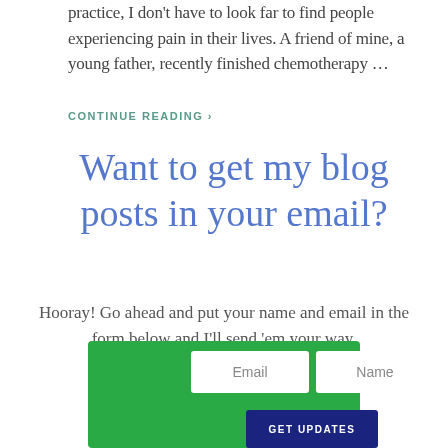practice, I don't have to look far to find people experiencing pain in their lives. A friend of mine, a young father, recently finished chemotherapy …
CONTINUE READING ›
Want to get my blog posts in your email?
Hooray! Go ahead and put your name and email in the form below and I'll send 'em your way.
[Figure (other): Email signup form with Email and Name input fields and a GET UPDATES button on a green background]